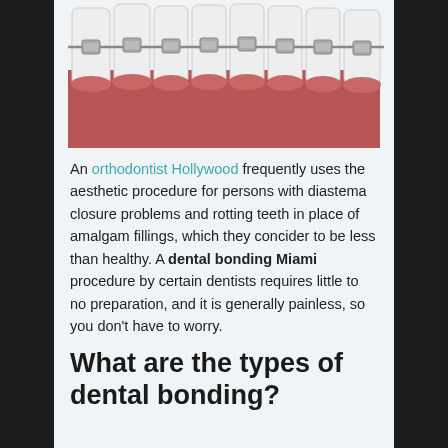[Figure (illustration): Illustration of teeth with metal dental braces/brackets and wire on a red gum background, showing multiple upper teeth in a row]
An orthodontist Hollywood frequently uses the aesthetic procedure for persons with diastema closure problems and rotting teeth in place of amalgam fillings, which they concider to be less than healthy. A dental bonding Miami procedure by certain dentists requires little to no preparation, and it is generally painless, so you don't have to worry.
What are the types of dental bonding?